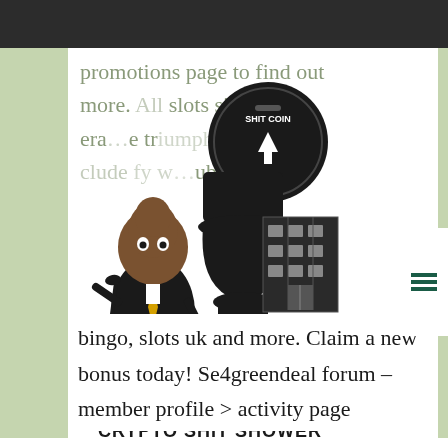promotions page to find out more. All slots sister sites, era…e triumph…an gaming, include…fy w… ub 3000
[Figure (logo): Crypto Shit Shower logo: cartoon poop character in suit, toilet with Shit Coin cryptocurrency token, and building illustration. Text reads CRYPTO SHIT SHOWER]
bingo, slots uk and more. Claim a new bonus today! Se4greendeal forum – member profile > activity page
[Figure (photo): Crypto Games promotional banner with dark green background showing a roulette wheel on the left, playing cards and poker chips on the right, and the Crypto Games logo in the center]